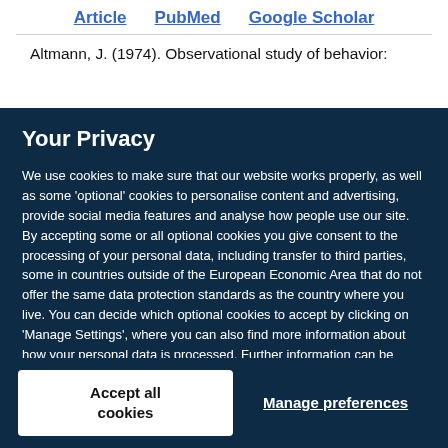Article   PubMed   Google Scholar
Altmann, J. (1974). Observational study of behavior:
Your Privacy
We use cookies to make sure that our website works properly, as well as some 'optional' cookies to personalise content and advertising, provide social media features and analyse how people use our site. By accepting some or all optional cookies you give consent to the processing of your personal data, including transfer to third parties, some in countries outside of the European Economic Area that do not offer the same data protection standards as the country where you live. You can decide which optional cookies to accept by clicking on 'Manage Settings', where you can also find more information about how your personal data is processed. Further information can be found in our privacy policy.
Accept all cookies
Manage preferences